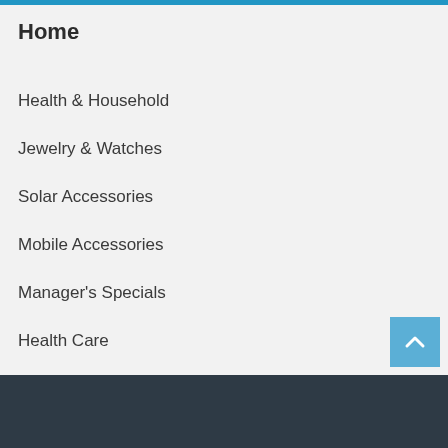Home
Health & Household
Jewelry & Watches
Solar Accessories
Mobile Accessories
Manager's Specials
Health Care
Skin Care
[Figure (screenshot): Mobile app navigation bar with search box and bottom icons for user, search, cart (0), and wishlist (0)]